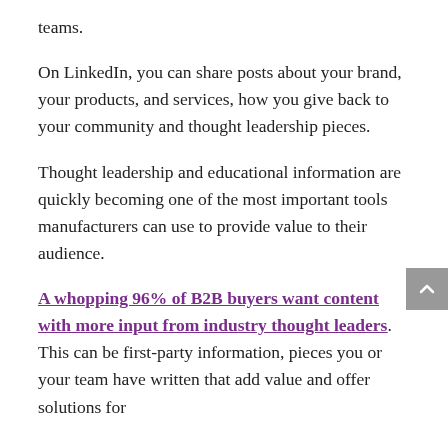teams.
On LinkedIn, you can share posts about your brand, your products, and services, how you give back to your community and thought leadership pieces.
Thought leadership and educational information are quickly becoming one of the most important tools manufacturers can use to provide value to their audience.
A whopping 96% of B2B buyers want content with more input from industry thought leaders. This can be first-party information, pieces you or your team have written that add value and offer solutions for